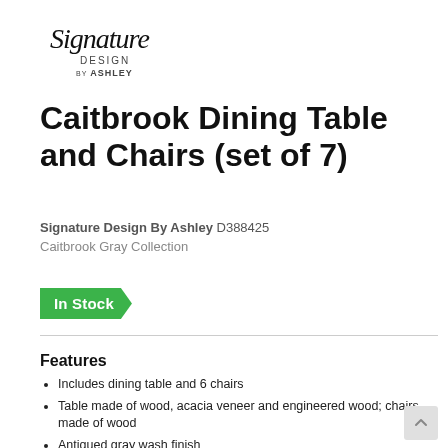[Figure (logo): Signature Design by Ashley logo — cursive 'Signature' text above 'DESIGN by ASHLEY' in smaller caps]
Caitbrook Dining Table and Chairs (set of 7)
Signature Design By Ashley D388425
Caitbrook Gray Collection
In Stock
Features
Includes dining table and 6 chairs
Table made of wood, acacia veneer and engineered wood; chairs made of wood
Antiqued gray wash finish
Foam cushioned seat with linen-weave polyester upholstery